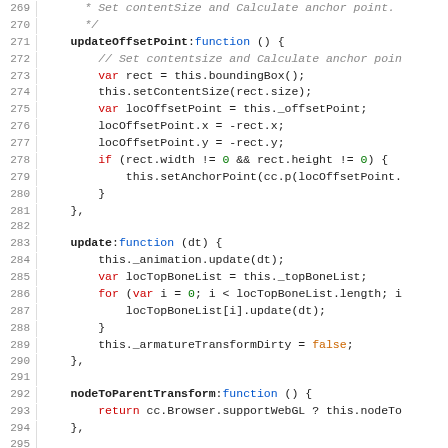[Figure (screenshot): Source code listing showing JavaScript code for a sprite/armature animation class, lines 269-298. Code includes updateOffsetPoint, update, nodeToParentTransform, and nodeToParentTransformWEBGL functions with syntax highlighting.]